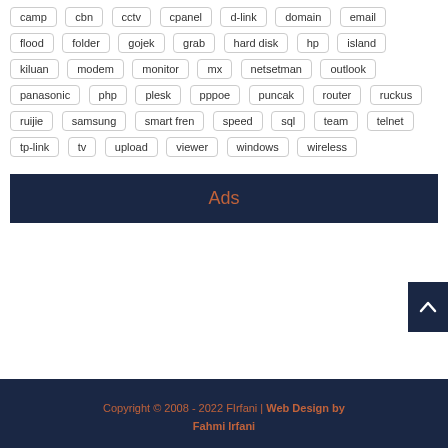camp, cbn, cctv, cpanel, d-link, domain, email, flood, folder, gojek, grab, hard disk, hp, island, kiluan, modem, monitor, mx, netsetman, outlook, panasonic, php, plesk, pppoe, puncak, router, ruckus, ruijie, samsung, smart fren, speed, sql, team, telnet, tp-link, tv, upload, viewer, windows, wireless
[Figure (other): Ads banner with dark navy background]
Copyright © 2008 - 2022 FIrfani | Web Design by Fahmi Irfani